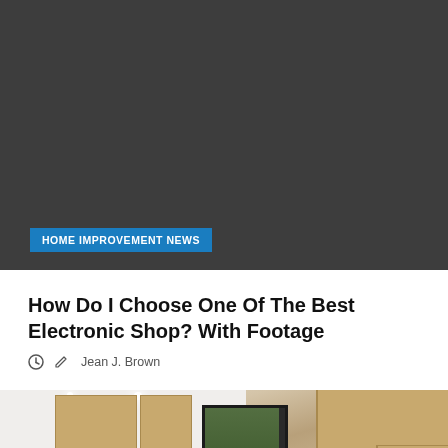[Figure (photo): Dark gray hero image background for article]
HOME IMPROVEMENT NEWS
How Do I Choose One Of The Best Electronic Shop? With Footage
Jean J. Brown
[Figure (photo): Kitchen interior with wooden cabinets, white walls, black-framed window with greenery outside, and appliances]